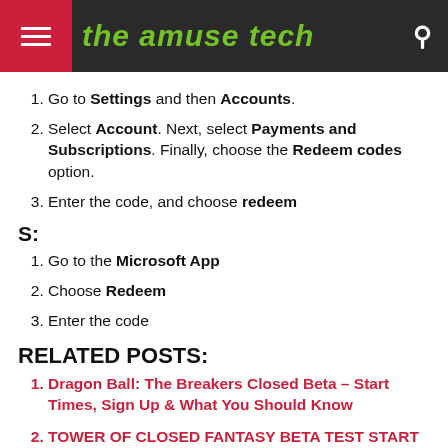the amuse tech
Go to Settings and then Accounts.
Select Account. Next, select Payments and Subscriptions. Finally, choose the Redeem codes option.
Enter the code, and choose redeem
S:
Go to the Microsoft App
Choose Redeem
Enter the code
RELATED POSTS:
Dragon Ball: The Breakers Closed Beta – Start Times, Sign Up & What You Should Know
TOWER OF CLOSED FANTASY BETA TEST START and END DATES- HERE'S WHEN IT BEGINS and ENDS